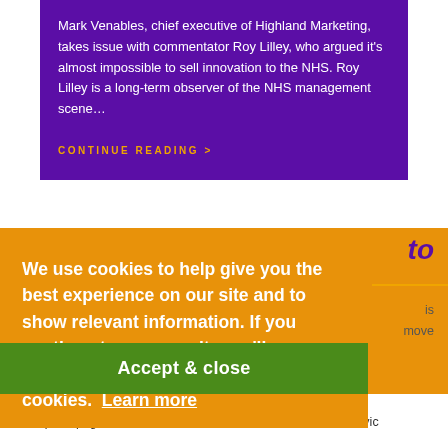Mark Venables, chief executive of Highland Marketing, takes issue with commentator Roy Lilley, who argued it's almost impossible to sell innovation to the NHS. Roy Lilley is a long-term observer of the NHS management scene…
CONTINUE READING >
to
We use cookies to help give you the best experience on our site and to show relevant information. If you continue to use our site, we'll assume that you're happy to receive all cookies.  Learn more
Accept & close
sell square pegs into round holes. We will not even talk to the civic